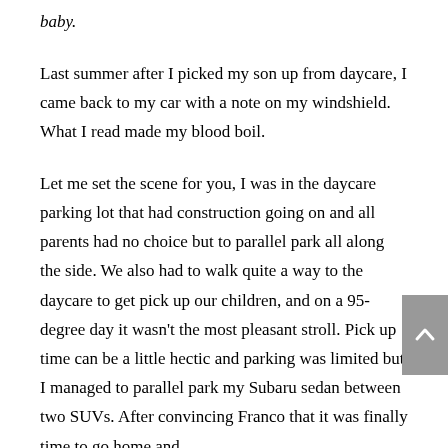baby.
Last summer after I picked my son up from daycare, I came back to my car with a note on my windshield. What I read made my blood boil.
Let me set the scene for you, I was in the daycare parking lot that had construction going on and all parents had no choice but to parallel park all along the side. We also had to walk quite a way to the daycare to get pick up our children, and on a 95-degree day it wasn't the most pleasant stroll. Pick up time can be a little hectic and parking was limited but I managed to parallel park my Subaru sedan between two SUVs. After convincing Franco that it was finally time to go home and